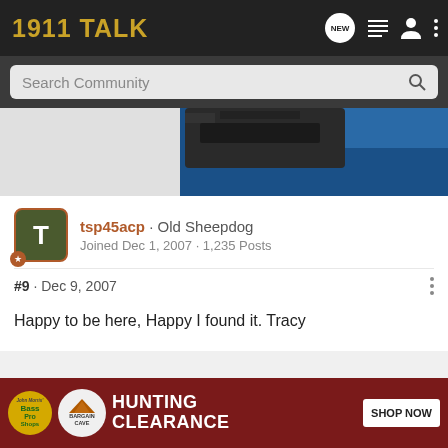1911 TALK
Search Community
[Figure (photo): Partial image of what appears to be a firearm on a blue surface, cropped at top of post]
tsp45acp · Old Sheepdog
Joined Dec 1, 2007 · 1,235 Posts
#9 · Dec 9, 2007
Happy to be here, Happy I found it. Tracy
[Figure (infographic): Bass Pro Shops advertisement banner: Bargain Cave HUNTING CLEARANCE SHOP NOW]